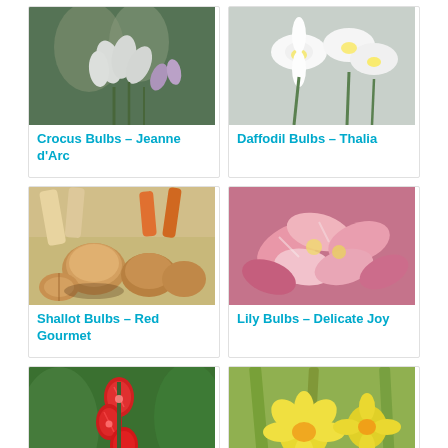[Figure (photo): Crocus flowers – white blooms with purple/green background]
Crocus Bulbs – Jeanne d'Arc
[Figure (photo): Daffodil flowers – white blooms on light background]
Daffodil Bulbs – Thalia
[Figure (photo): Shallot bulbs – brown onion-like bulbs with carrots and parsnips]
Shallot Bulbs – Red Gourmet
[Figure (photo): Lily flowers – pink and white blooms]
Lily Bulbs – Delicate Joy
[Figure (photo): Gladiolus flowers – red blooms on green background]
[Figure (photo): Narcissus flowers – yellow blooms]